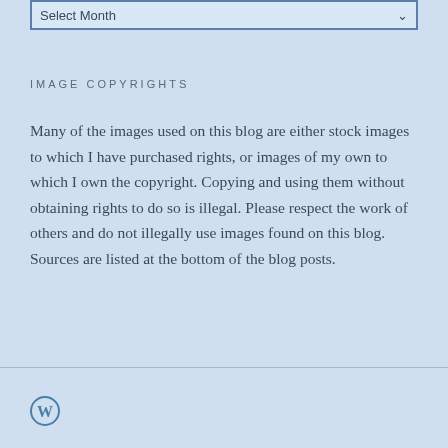[Figure (other): Select Month dropdown widget — a rectangular input box with 'Select Month' label and a dropdown arrow on the right, styled with a blue border on a light blue background.]
IMAGE COPYRIGHTS
Many of the images used on this blog are either stock images to which I have purchased rights, or images of my own to which I own the copyright. Copying and using them without obtaining rights to do so is illegal. Please respect the work of others and do not illegally use images found on this blog. Sources are listed at the bottom of the blog posts.
[Figure (logo): WordPress logo — circular blue 'W' icon in the page footer.]